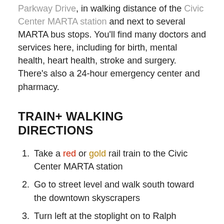Parkway Drive, in walking distance of the Civic Center MARTA station and next to several MARTA bus stops. You'll find many doctors and services here, including for birth, mental health, heart health, stroke and surgery. There's also a 24-hour emergency center and pharmacy.
TRAIN+ WALKING DIRECTIONS
Take a red or gold rail train to the Civic Center MARTA station
Go to street level and walk south toward the downtown skyscrapers
Turn left at the stoplight on to Ralph McGrill Blvd. (also marked as Ivan Allen Jr. on one side of the street)
Walk about 20 minutes